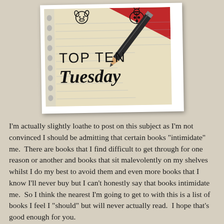[Figure (illustration): Polaroid-style photo of a notebook with 'TOP TEN Tuesday' hand-written on it, a pencil, doodle cow and ladybug, with red corner spiral binding.]
I'm actually slightly loathe to post on this subject as I'm not convinced I should be admitting that certain books "intimidate" me.  There are books that I find difficult to get through for one reason or another and books that sit malevolently on my shelves whilst I do my best to avoid them and even more books that I know I'll never buy but I can't honestly say that books intimidate me.  So I think the nearest I'm going to get to with this is a list of books I feel I "should" but will never actually read.  I hope that's good enough for you.